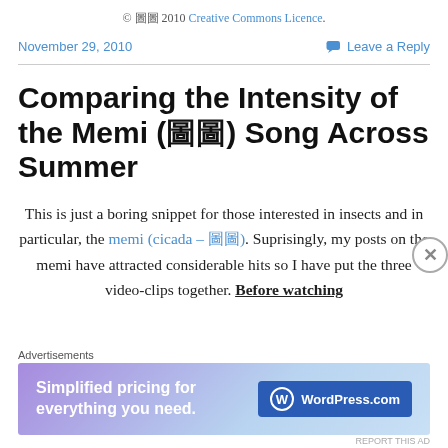© 圖圖 2010 Creative Commons Licence.
November 29, 2010
Leave a Reply
Comparing the Intensity of the Memi (圖圖) Song Across Summer
This is just a boring snippet for those interested in insects and in particular, the memi (cicada – 圖圖). Suprisingly, my posts on the memi have attracted considerable hits so I have put the three video-clips together. Before watching
Advertisements
[Figure (screenshot): WordPress.com advertisement banner: 'Simplified pricing for everything you need.' with WordPress.com logo on a purple-to-blue gradient background.]